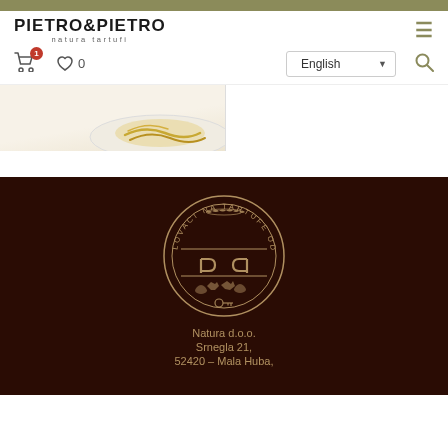PIETRO&PIETRO natura tartufi — website header with navigation
[Figure (screenshot): Partial product image showing pasta dish on white plate, cut off at bottom]
[Figure (logo): Pietro&Pietro circular seal logo in gold on dark brown background — LOVACI NA TARTUFE OD 1932, with PP monogram and running dogs]
Natura d.o.o.
Srnegla 21,
52420 – Mala Huba,